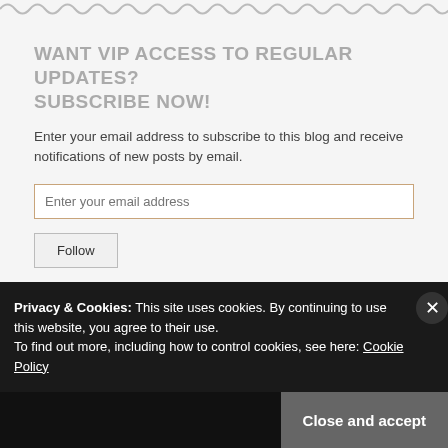[Figure (other): Wavy zigzag decorative line divider in gray]
WANT VIP ACCESS TO REGULAR UPDATES? SUBSCRIBE NOW!
Enter your email address to subscribe to this blog and receive notifications of new posts by email.
Enter your email address
Follow
Join 2,453 other followers
Privacy & Cookies: This site uses cookies. By continuing to use this website, you agree to their use.
To find out more, including how to control cookies, see here: Cookie Policy
Close and accept